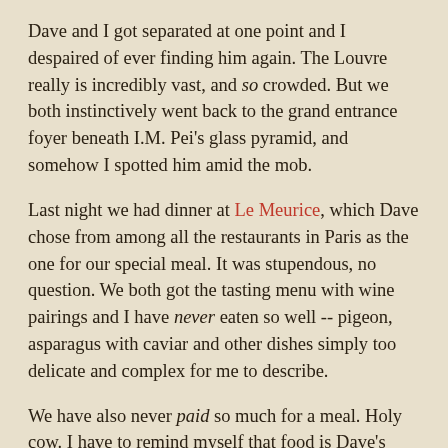Dave and I got separated at one point and I despaired of ever finding him again. The Louvre really is incredibly vast, and so crowded. But we both instinctively went back to the grand entrance foyer beneath I.M. Pei's glass pyramid, and somehow I spotted him amid the mob.
Last night we had dinner at Le Meurice, which Dave chose from among all the restaurants in Paris as the one for our special meal. It was stupendous, no question. We both got the tasting menu with wine pairings and I have never eaten so well -- pigeon, asparagus with caviar and other dishes simply too delicate and complex for me to describe.
We have also never paid so much for a meal. Holy cow. I have to remind myself that food is Dave's passion, and this is the equivalent of him buying a fancy camera lens. If I can do it, so can he!
We'll be back on the train to London this afternoon, to be reunited with Olga this evening. We keep joking that the folks at the kennel have probably locked her in a crate, she's such a wild thing. We'll all be happy to see each other. I'm